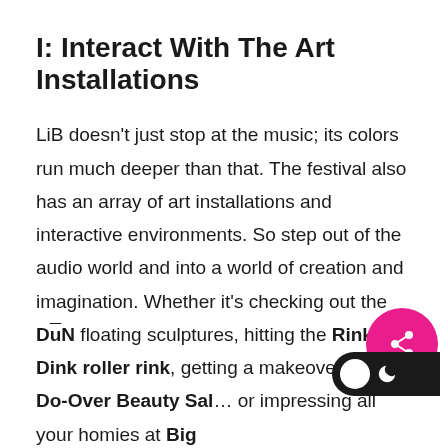I: Interact With The Art Installations
LiB doesn't just stop at the music; its colors run much deeper than that. The festival also has an array of art installations and interactive environments. So step out of the audio world and into a world of creation and imagination. Whether it's checking out the DūN floating sculptures, hitting the Rink-A-Dink roller rink, getting a makeover at the Do-Over Beauty Sal… or impressing all your homies at Big